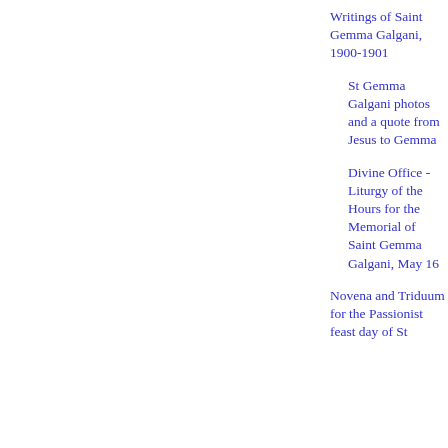Writings of Saint Gemma Galgani, 1900-1901
St Gemma Galgani photos and a quote from Jesus to Gemma
Divine Office - Liturgy of the Hours for the Memorial of Saint Gemma Galgani, May 16
Novena and Triduum for the Passionist feast day of St